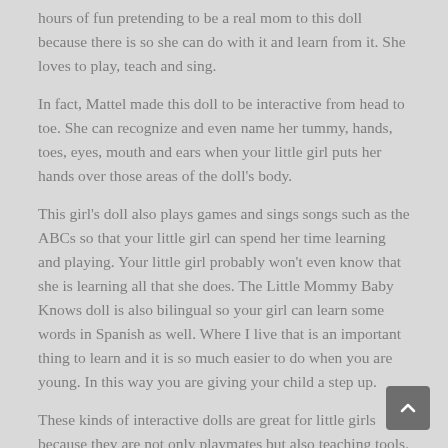hours of fun pretending to be a real mom to this doll because there is so she can do with it and learn from it. She loves to play, teach and sing.
In fact, Mattel made this doll to be interactive from head to toe. She can recognize and even name her tummy, hands, toes, eyes, mouth and ears when your little girl puts her hands over those areas of the doll's body.
This girl's doll also plays games and sings songs such as the ABCs so that your little girl can spend her time learning and playing. Your little girl probably won't even know that she is learning all that she does. The Little Mommy Baby Knows doll is also bilingual so your girl can learn some words in Spanish as well. Where I live that is an important thing to learn and it is so much easier to do when you are young. In this way you are giving your child a step up.
These kinds of interactive dolls are great for little girls because they are not only playmates but also teaching tools. These days, kids need all of the education they can get even when it is play time. By disguising learning as fun,